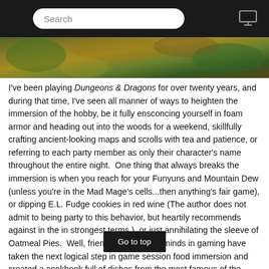Search
[Figure (photo): Fantasy/D&D themed banner image with natural green and golden tones]
I've been playing Dungeons & Dragons for over twenty years, and during that time, I've seen all manner of ways to heighten the immersion of the hobby, be it fully ensconcing yourself in foam armor and heading out into the woods for a weekend, skillfully crafting ancient-looking maps and scrolls with tea and patience, or referring to each party member as only their character's name throughout the entire night.  One thing that always breaks the immersion is when you reach for your Funyuns and Mountain Dew (unless you're in the Mad Mage's cells...then anything's fair game), or dipping E.L. Fudge cookies in red wine (The author does not admit to being party to this behavior, but heartily recommends against in the in strongest terms.), or just annihilating the sleeve of Oatmeal Pies.  Well, friends, some great minds in gaming have taken the next logical step in game session food immersion and created a cookbook full of dishes from the most famous of the Realms in the D&D canon, including Greyhawk, Eberron, Faerun, and K ed in the countless tomes of lore and the rich history d best-known role-